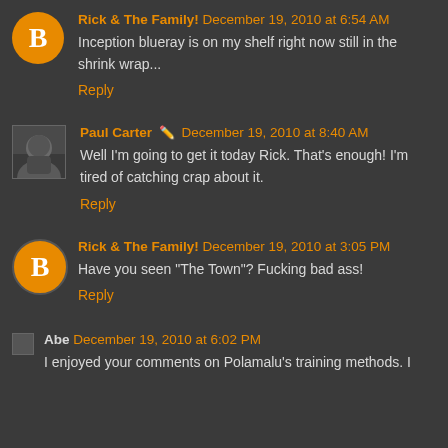Rick & The Family! December 19, 2010 at 6:54 AM
Inception blueray is on my shelf right now still in the shrink wrap...
Reply
Paul Carter  December 19, 2010 at 8:40 AM
Well I'm going to get it today Rick. That's enough! I'm tired of catching crap about it.
Reply
Rick & The Family! December 19, 2010 at 3:05 PM
Have you seen "The Town"? Fucking bad ass!
Reply
Abe December 19, 2010 at 6:02 PM
I enjoyed your comments on Polamalu's training methods. I